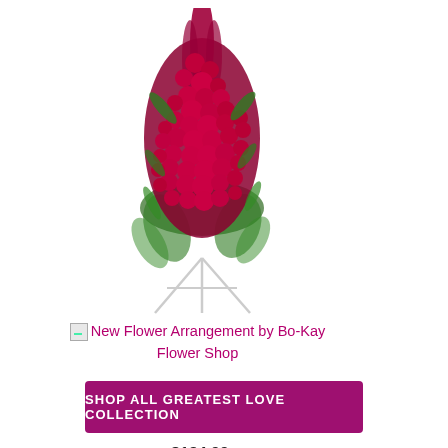[Figure (photo): A large floral arrangement of red roses and gladioli on a white metal easel stand, displayed as a funeral/sympathy spray]
New Flower Arrangement by Bo-Kay Flower Shop
Deep in Our Hearts Spray
$184.99
Buy Now
SHOP ALL GREATEST LOVE COLLECTION